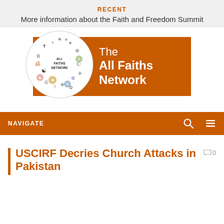RECENT
More information about the Faith and Freedom Summit
[Figure (logo): The All Faiths Network logo: a circle with many world religion symbols around the text 'ALL FAITHS NETWORK', on an orange background with white text 'The All Faiths Network']
NAVIGATE
USCIRF Decries Church Attacks in Pakistan